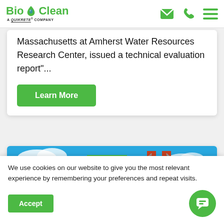BioClean - A Quikrete Company
Massachusetts at Amherst Water Resources Research Center, issued a technical evaluation report"...
Learn More
[Figure (photo): Photo of a bridge structure with green sky and blue background]
We use cookies on our website to give you the most relevant experience by remembering your preferences and repeat visits.
Accept